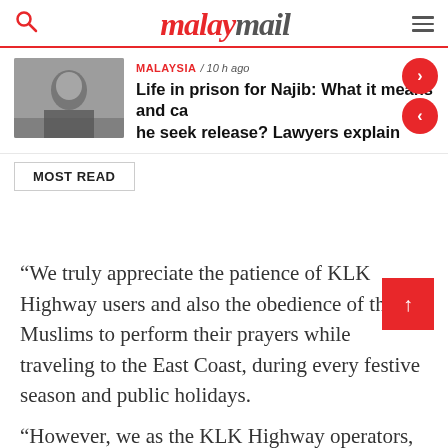malaymail
Life in prison for Najib: What it means and can he seek release? Lawyers explain
MOST READ
“We truly appreciate the patience of KLK Highway users and also the obedience of the Muslims to perform their prayers while traveling to the East Coast, during every festive season and public holidays.
“However, we as the KLK Highway operators, also seek patience and reasonableness from road users so as not to perform their prayers on the roads; that is on